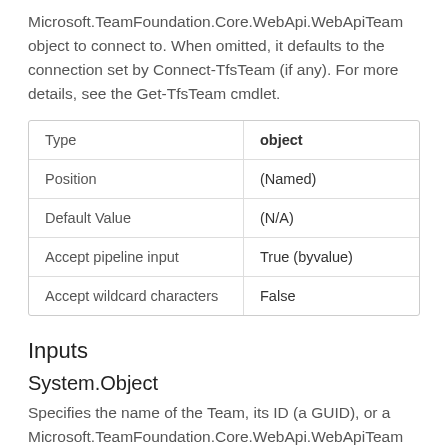Microsoft.TeamFoundation.Core.WebApi.WebApiTeam object to connect to. When omitted, it defaults to the connection set by Connect-TfsTeam (if any). For more details, see the Get-TfsTeam cmdlet.
| Type | object |
| Position | (Named) |
| Default Value | (N/A) |
| Accept pipeline input | True (byvalue) |
| Accept wildcard characters | False |
Inputs
System.Object
Specifies the name of the Team, its ID (a GUID), or a Microsoft.TeamFoundation.Core.WebApi.WebApiTeam object to connect to. When omitted, it defaults to the connection set by Connect-TfsTeam (if any). For more details, see the Get-TfsTeam cmdlet.